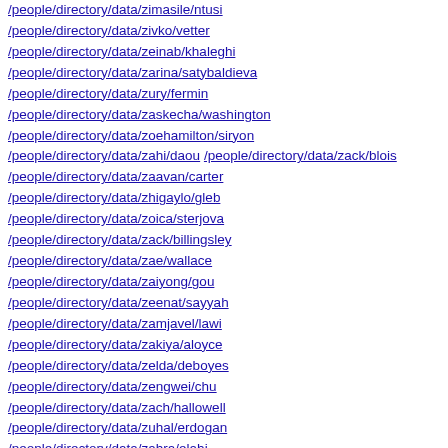/people/directory/data/zimasile/ntusi
/people/directory/data/zivko/vetter
/people/directory/data/zeinab/khaleghi
/people/directory/data/zarina/satybaldieva
/people/directory/data/zury/fermin
/people/directory/data/zaskecha/washington
/people/directory/data/zoehamilton/siryon
/people/directory/data/zahi/daou /people/directory/data/zack/blois
/people/directory/data/zaavan/carter
/people/directory/data/zhigaylo/gleb
/people/directory/data/zoica/sterjova
/people/directory/data/zack/billingsley
/people/directory/data/zae/wallace
/people/directory/data/zaiyong/gou
/people/directory/data/zeenat/sayyah
/people/directory/data/zamjavel/lawi
/people/directory/data/zakiya/aloyce
/people/directory/data/zelda/deboyes
/people/directory/data/zengwei/chu
/people/directory/data/zach/hallowell
/people/directory/data/zuhal/erdogan
/people/directory/data/zahra/elahi
/people/directory/data/zlil/konorti /people/directory/data/zhong/ndt
/people/directory/data/zeliha/kina
/people/directory/data/zachary/sand